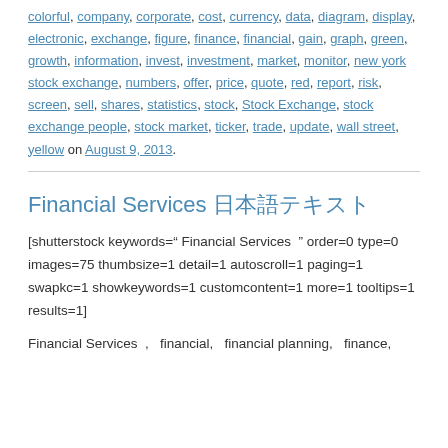colorful, company, corporate, cost, currency, data, diagram, display, electronic, exchange, figure, finance, financial, gain, graph, green, growth, information, invest, investment, market, monitor, new york stock exchange, numbers, offer, price, quote, red, report, risk, screen, sell, shares, statistics, stock, Stock Exchange, stock exchange people, stock market, ticker, trade, update, wall street, yellow on August 9, 2013.
Financial Services 日本語テキスト
[shutterstock keywords=" Financial Services " order=0 type=0 images=75 thumbsize=1 detail=1 autoscroll=1 paging=1 swapkc=1 showkeywords=1 customcontent=1 more=1 tooltips=1 results=1]
Financial Services ,  financial,  financial planning,  finance,